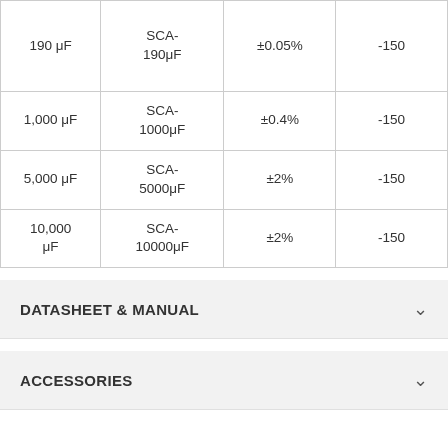| 190 μF | SCA-190μF | ±0.05% | -150 |
| 1,000 μF | SCA-1000μF | ±0.4% | -150 |
| 5,000 μF | SCA-5000μF | ±2% | -150 |
| 10,000 μF | SCA-10000μF | ±2% | -150 |
DATASHEET & MANUAL
ACCESSORIES